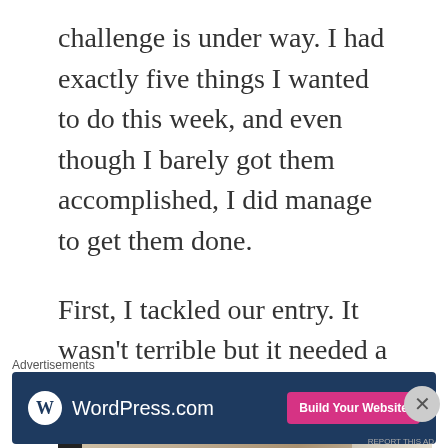challenge is under way. I had exactly five things I wanted to do this week, and even though I barely got them accomplished, I did manage to get them done.
First, I tackled our entry. It wasn't terrible but it needed a little attention.
[Figure (photo): Interior photo of a home entryway showing a dark-framed mirror or furniture piece against a light-colored wall with a door visible]
Advertisements
[Figure (screenshot): WordPress.com advertisement banner with dark blue background, WordPress logo and text on left, and pink 'Build Your Website' button on right]